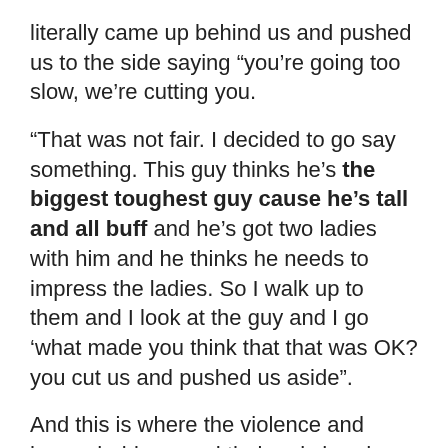literally came up behind us and pushed us to the side saying “you’re going too slow, we’re cutting you.
“That was not fair. I decided to go say something. This guy thinks he’s the biggest toughest guy cause he’s tall and all buff and he’s got two ladies with him and he thinks he needs to impress the ladies. So I walk up to them and I look at the guy and I go ‘what made you think that that was OK? you cut us and pushed us aside”.
And this is where the violence and homophobia reared their ugly heads.
“I looked him in the eye for two seconds, and